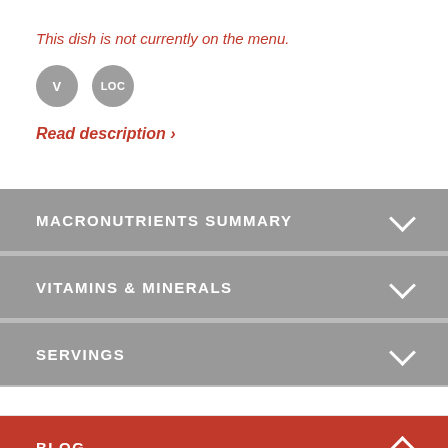This dish is not currently on the menu.
[Figure (other): Two circular badges: V (vegetarian) and LOC (local)]
Read description ›
MACRONUTRIENTS SUMMARY
VITAMINS & MINERALS
SERVINGS
BLOG